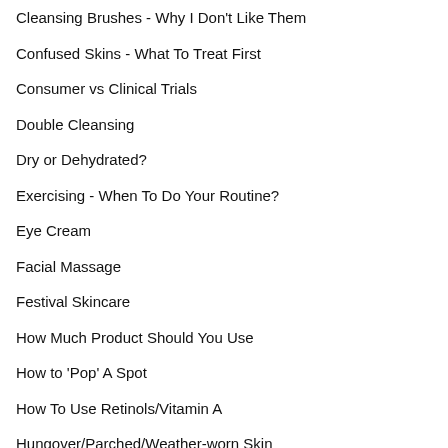Cleansing Brushes - Why I Don't Like Them
Confused Skins - What To Treat First
Consumer vs Clinical Trials
Double Cleansing
Dry or Dehydrated?
Exercising - When To Do Your Routine?
Eye Cream
Facial Massage
Festival Skincare
How Much Product Should You Use
How to 'Pop' A Spot
How To Use Retinols/Vitamin A
Hungover/Parched/Weather-worn Skin
Milia
Natural vs Chemical
Nurses/Teachers